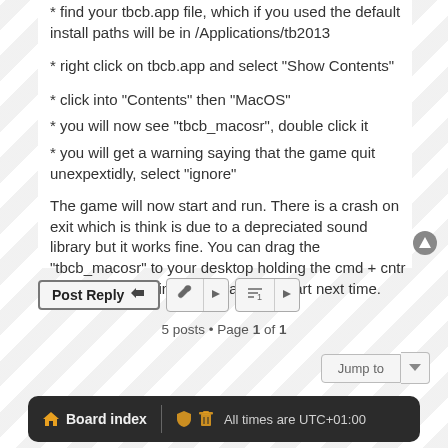* find your tbcb.app file, which if you used the default install paths will be in /Applications/tb2013
* right click on tbcb.app and select "Show Contents"
* click into "Contents" then "MacOS"
* you will now see "tbcb_macosr", double click it
* you will get a warning saying that the game quit unexpextidly, select "ignore"
The game will now start and run. There is a crash on exit which is think is due to a depreciated sound library but it works fine. You can drag the "tbcb_macosr" to your desktop holding the cmd + cntr keys to make a link so its easier to start next time.
5 posts • Page 1 of 1
Board index   All times are UTC+01:00